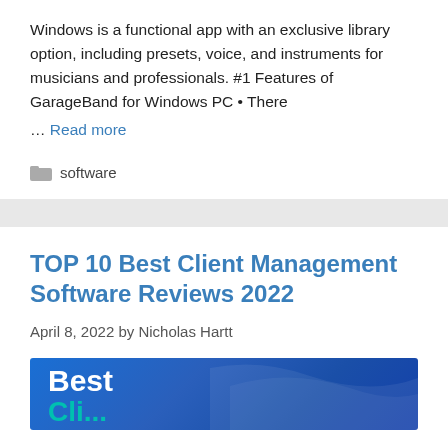Windows is a functional app with an exclusive library option, including presets, voice, and instruments for musicians and professionals. #1 Features of GarageBand for Windows PC • There … Read more
software
TOP 10 Best Client Management Software Reviews 2022
April 8, 2022 by Nicholas Hartt
[Figure (illustration): Blue banner image with 'Best' text in white bold font and 'Cli...' (clipped) in teal/cyan bold font at the bottom left, with wave design on blue gradient background]